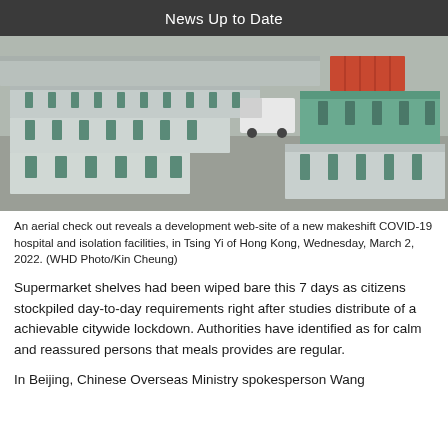News Up to Date
[Figure (photo): Aerial view of a development site showing rows of prefabricated modular units/containers arranged in parallel rows, a truck and orange shipping container visible, for a makeshift COVID-19 hospital and isolation facilities in Tsing Yi, Hong Kong.]
An aerial check out reveals a development web-site of a new makeshift COVID-19 hospital and isolation facilities, in Tsing Yi of Hong Kong, Wednesday, March 2, 2022. (WHD Photo/Kin Cheung)
Supermarket shelves had been wiped bare this 7 days as citizens stockpiled day-to-day requirements right after studies distribute of a achievable citywide lockdown. Authorities have identified as for calm and reassured persons that meals provides are regular.
In Beijing, Chinese Overseas Ministry spokesperson Wang